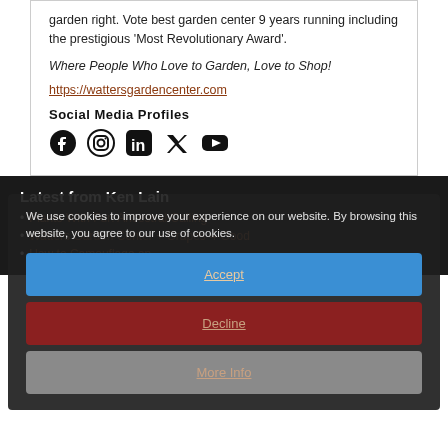garden right. Vote best garden center 9 years running including the prestigious 'Most Revolutionary Award'.
Where People Who Love to Garden, Love to Shop!
https://wattersgardencenter.com
Social Media Profiles
[Figure (infographic): Social media icons: Facebook, Instagram, LinkedIn, Twitter, YouTube]
Latest from Ken Lain
We use cookies to improve your experience on our website. By browsing this website, you agree to our use of cookies.
Plants With Fur: Ancestral Calling
Watters Garden Center + Grapes-4-Good
How to Camouflage an...
Accept
Decline
More Info